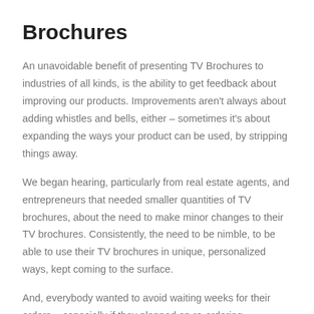Brochures
An unavoidable benefit of presenting TV Brochures to industries of all kinds, is the ability to get feedback about improving our products. Improvements aren't always about adding whistles and bells, either – sometimes it's about expanding the ways your product can be used, by stripping things away.
We began hearing, particularly from real estate agents, and entrepreneurs that needed smaller quantities of TV brochures, about the need to make minor changes to their TV brochures. Consistently, the need to be nimble, to be able to use their TV brochures in unique, personalized ways, kept coming to the surface.
And, everybody wanted to avoid waiting weeks for their orders – especially if they planned on re-ordering.